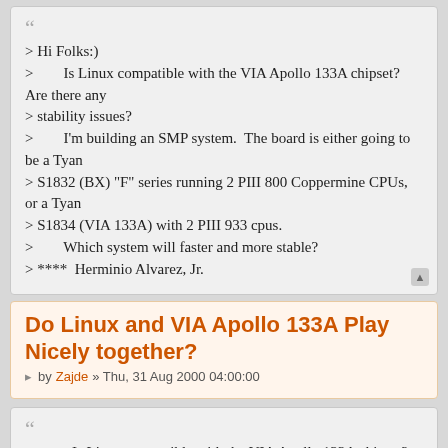> Hi Folks:)
>        Is Linux compatible with the VIA Apollo 133A chipset?  Are there any
> stability issues?
>        I'm building an SMP system.  The board is either going to be a Tyan
> S1832 (BX) "F" series running 2 PIII 800 Coppermine CPUs, or a Tyan
> S1834 (VIA 133A) with 2 PIII 933 cpus.
>        Which system will faster and more stable?
> ****  Herminio Alvarez, Jr.
Do Linux and VIA Apollo 133A Play Nicely together?
by Zajde » Thu, 31 Aug 2000 04:00:00
>>        Is Linux compatible with the VIA Apollo 133A chipset?  Are there any
>> stability issues?